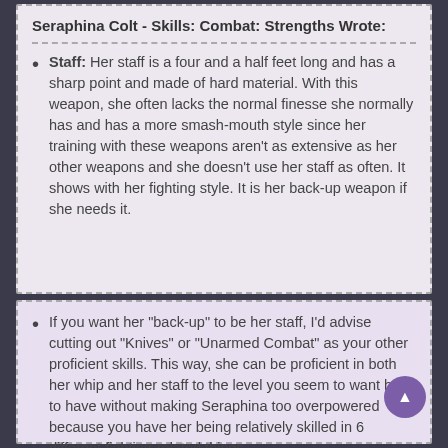Seraphina Colt - Skills: Combat: Strengths Wrote:
Staff: Her staff is a four and a half feet long and has a sharp point and made of hard material. With this weapon, she often lacks the normal finesse she normally has and has a more smash-mouth style since her training with these weapons aren't as extensive as her other weapons and she doesn't use her staff as often. It shows with her fighting style. It is her back-up weapon if she needs it.
If you want her "back-up" to be her staff, I'd advise cutting out "Knives" or "Unarmed Combat" as your other proficient skills. This way, she can be proficient in both her whip and her staff to the level you seem to want her to have without making Seraphina too overpowered because you have her being relatively skilled in 6 different fighting-related things.
This would also mean that she would be carrying